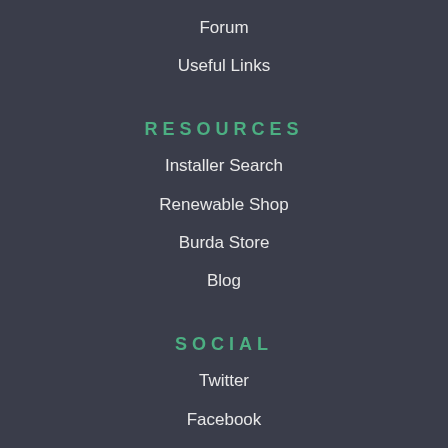Forum
Useful Links
RESOURCES
Installer Search
Renewable Shop
Burda Store
Blog
SOCIAL
Twitter
Facebook